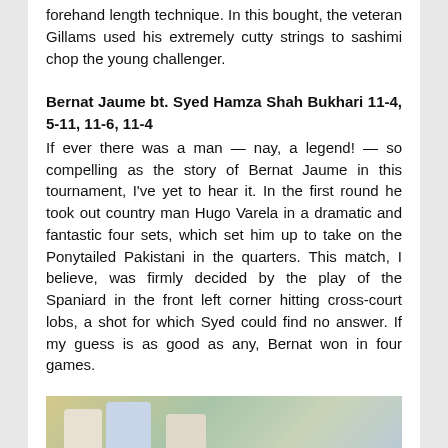forehand length technique. In this bought, the veteran Gillams used his extremely cutty strings to sashimi chop the young challenger.
Bernat Jaume bt. Syed Hamza Shah Bukhari 11-4, 5-11, 11-6, 11-4
If ever there was a man — nay, a legend! — so compelling as the story of Bernat Jaume in this tournament, I've yet to hear it. In the first round he took out country man Hugo Varela in a dramatic and fantastic four sets, which set him up to take on the Ponytailed Pakistani in the quarters. This match, I believe, was firmly decided by the play of the Spaniard in the front left corner hitting cross-court lobs, a shot for which Syed could find no answer. If my guess is as good as any, Bernat won in four games.
[Figure (photo): Photograph of players at a squash tournament, partially visible at the bottom of the page]